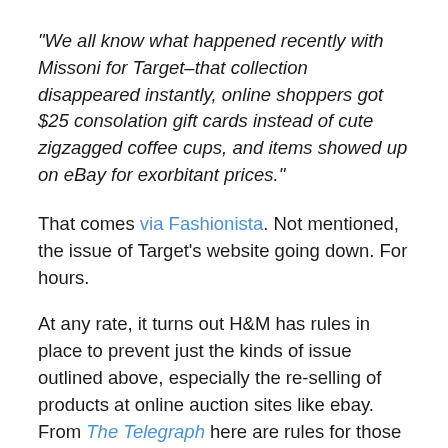“We all know what happened recently with Missoni for Target–that collection disappeared instantly, online shoppers got $25 consolation gift cards instead of cute zigzagged coffee cups, and items showed up on eBay for exorbitant prices.”
That comes via Fashionista. Not mentioned, the issue of Target’s website going down. For hours.
At any rate, it turns out H&M has rules in place to prevent just the kinds of issue outlined above, especially the re-selling of products at online auction sites like ebay.  From The Telegraph here are rules for those shopping in London.
Shoppers will be allowed in stores in groups of 20, with a shopping allowance of just 10 minutes. Customers can